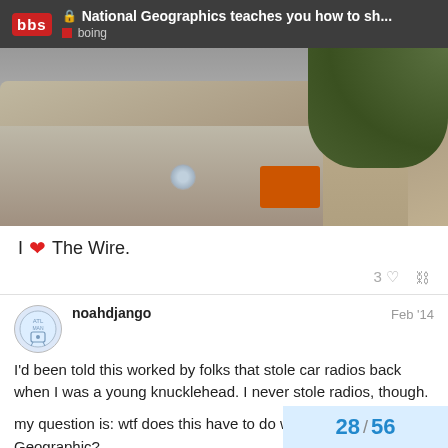National Geographics teaches you how to sh... | boing
[Figure (screenshot): Screenshot of a car trunk/rear with a person standing next to it, greenery visible in background. Video still from what appears to be a TV show.]
I ❤ The Wire.
3 ♡ 🔗
noahdjango  Feb '14
I'd been told this worked by folks that stole car radios back when I was a young knucklehead. I never stole radios, though.
my question is: wtf does this have to do with National Geographic?
28 / 56